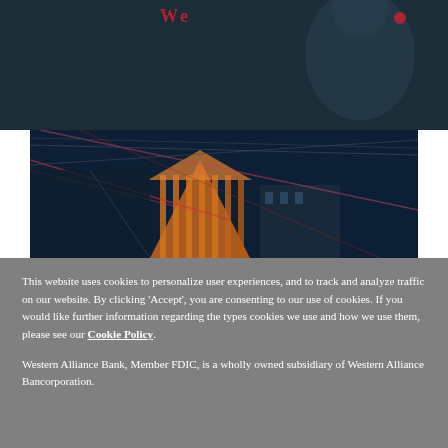[Figure (photo): Dark background with partial red logo/text visible at top of page]
[Figure (photo): Nighttime photo of illuminated building (Western Alliance Bank building) with light trails against dark blue sky]
This website uses cookies to personalize user experiences, and to track and analyze traffic on our website. By clicking 'Accept', you are consenting to our use of cookies. If you would like further information regarding the types cookies we use and how we use them, please see our Cookie Policy.
Western Alliance Bank, Member FDIC, is a wholly owned subsidiary of Western Alliance Bancorporation.